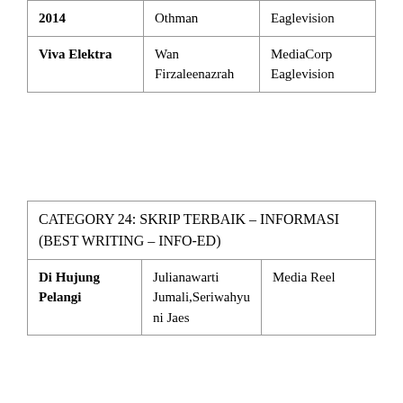| 2014 | Othman | Eaglevision |
| Viva Elektra | Wan Firzaleenazrah | MediaCorp Eaglevision |
| CATEGORY 24: SKRIP TERBAIK – INFORMASI (BEST WRITING – INFO-ED) |
| --- |
| Di Hujung Pelangi | Julianawarti Jumali,Seriwahyu ni Jaes | Media Reel |